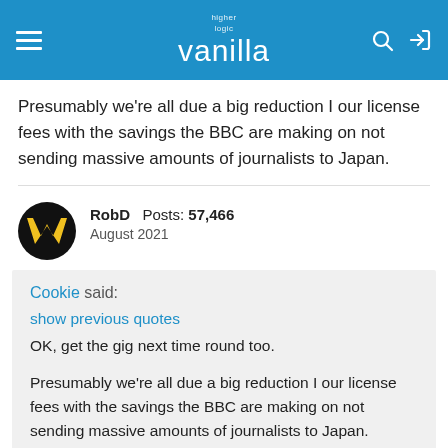higher logic vanilla
Presumably we're all due a big reduction I our license fees with the savings the BBC are making on not sending massive amounts of journalists to Japan.
RobD Posts: 57,466
August 2021
Cookie said:
show previous quotes
OK, get the gig next time round too.

Presumably we're all due a big reduction I our license fees with the savings the BBC are making on not sending massive amounts of journalists to Japan.